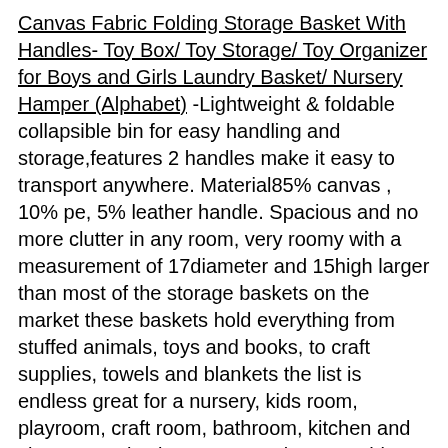Canvas Fabric Folding Storage Basket With Handles- Toy Box/ Toy Storage/ Toy Organizer for Boys and Girls Laundry Basket/ Nursery Hamper (Alphabet) -Lightweight & foldable collapsible bin for easy handling and storage,features 2 handles make it easy to transport anywhere. Material85% canvas , 10% pe, 5% leather handle. Spacious and no more clutter in any room, very roomy with a measurement of 17diameter and 15high larger than most of the storage baskets on the market these baskets hold everything from stuffed animals, toys and books, to craft supplies, towels and blankets the list is endless great for a nursery, kids room, playroom, craft room, bathroom, kitchen and closet organization etc. Organize everything the laundry hamper provides attractive and lightweight solution to many storage needs such as clothing storage (especially for underwear, socks, bra, etc), home textiles storage, toy storage, baby products